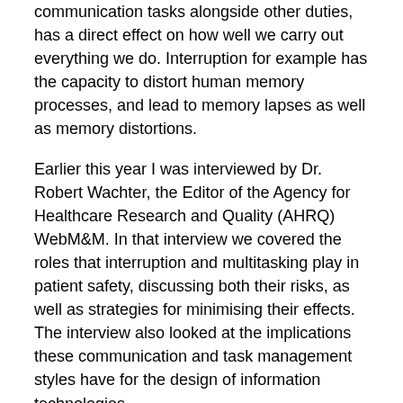communication tasks alongside other duties, has a direct effect on how well we carry out everything we do. Interruption for example has the capacity to distort human memory processes, and lead to memory lapses as well as memory distortions.
Earlier this year I was interviewed by Dr. Robert Wachter, the Editor of the Agency for Healthcare Research and Quality (AHRQ) WebM&M. In that interview we covered the roles that interruption and multitasking play in patient safety, discussing both their risks, as well as strategies for minimising their effects. The interview also looked at the implications these communication and task management styles have for the design of information technologies.
The transcript of the interview as well as the podcast are available here.